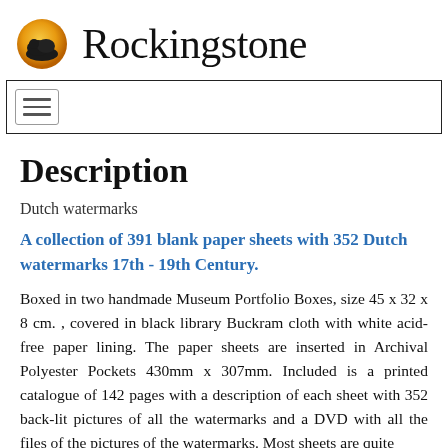[Figure (logo): Rockingstone logo: circular icon with orange/yellow gradient background and dark rocking stone silhouette, next to the text 'Rockingstone']
Rockingstone
[Figure (screenshot): Navigation bar with hamburger menu button (three horizontal lines) inside a bordered rectangle]
Description
Dutch watermarks
A collection of 391 blank paper sheets with 352 Dutch watermarks 17th - 19th Century.
Boxed in two handmade Museum Portfolio Boxes, size 45 x 32 x 8 cm. , covered in black library Buckram cloth with white acid-free paper lining. The paper sheets are inserted in Archival Polyester Pockets 430mm x 307mm. Included is a printed catalogue of 142 pages with a description of each sheet with 352 back-lit pictures of all the watermarks and a DVD with all the files of the pictures of the watermarks. Most sheets are quite